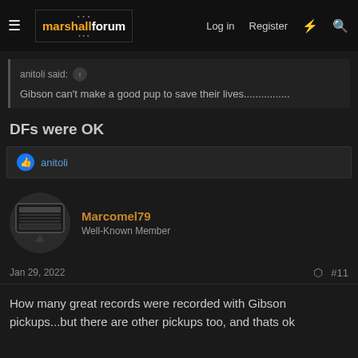marshallforum — Log in | Register
anitoli said: Gibson can't make a good pup to save their lives................
DFs were OK
anitoli (reaction: thumbs up)
Marcomel79 — Well-Known Member
Jan 29, 2022  #11
How many great records were recorded with Gibson pickups...but there are other pickups too, and thats ok